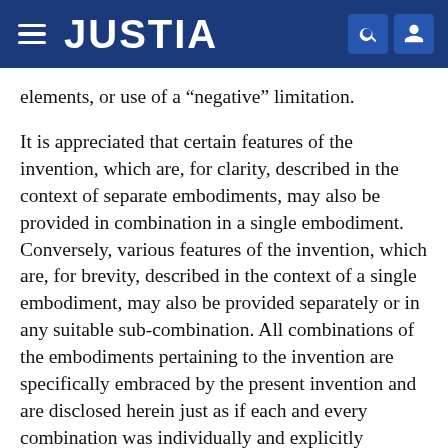JUSTIA
elements, or use of a “negative” limitation.
It is appreciated that certain features of the invention, which are, for clarity, described in the context of separate embodiments, may also be provided in combination in a single embodiment. Conversely, various features of the invention, which are, for brevity, described in the context of a single embodiment, may also be provided separately or in any suitable sub-combination. All combinations of the embodiments pertaining to the invention are specifically embraced by the present invention and are disclosed herein just as if each and every combination was individually and explicitly disclosed. In addition, all sub-combinations of the various embodiments and elements thereof are also specifically embraced by the present invention and are disclosed herein just as if each and every such sub-